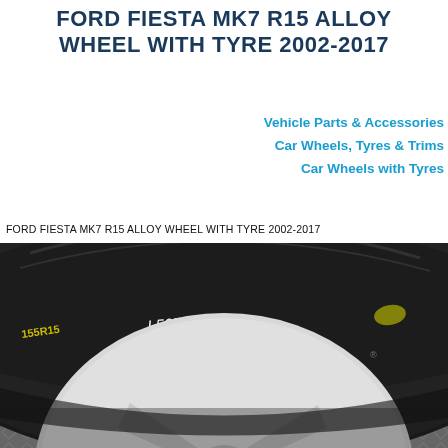FORD FIESTA MK7 R15 ALLOY WHEEL WITH TYRE 2002-2017
Vehicle Parts & Accessories
Car Wheels, Tyres & Trims
Car Wheels with Tyres
FORD FIESTA MK7 R15 ALLOY WHEEL WITH TYRE 2002-2017
[Figure (photo): Close-up photo of a Ford Fiesta MK7 alloy wheel with tyre (R15), showing black tyre sidewall marked with '155R15' and handwritten label 'L565-1 BT', white alloy wheel spokes visible below, mounted on a diamond-plate metal surface background.]